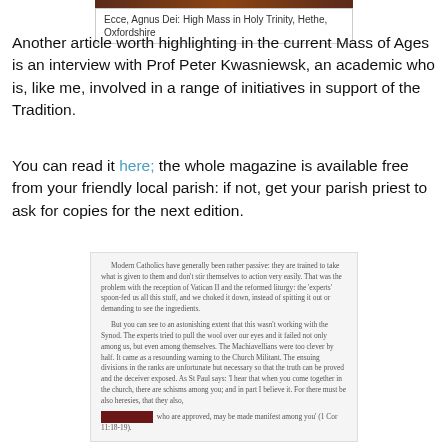Ecce, Agnus Dei: High Mass in Holy Trinity, Hethe, Oxfordshire
Another article worth highlighting in the current Mass of Ages is an interview with Prof Peter Kwasniewsk, an academic who is, like me, involved in a range of initiatives in support of the Tradition.
You can read it here; the whole magazine is available free from your friendly local parish: if not, get your parish priest to ask for copies for the next edition.
Modern Catholics have generally been rather passive: they are trained to take what is given to them and don't stir themselves to action very easily. That was the problem with the reception of Vatican II and the reformed liturgy: the 'experts' spoon-fed us all this stuff, and we choked it down, instead of spitting it out or demanding to see the ingredients.
    But you can see to an astonishing extent that this wasn't working with the Synod. The experts tried to pull the wool over our eyes and it failed not only among us, but even among themselves. The Machiavellians were too clever by half. It came as a resounding warning to the Church Militant. The ensuing divisions in the ranks are unfortunate but necessary so that the truth can be proved and the deceiver exposed. As St Paul says: 'I hear that when you come together in the church, there are schisms among you; and in part I believe it. For there must be also heresies, that they also, who are approved, may be made manifest among you' (1 Cor 11:18-19).